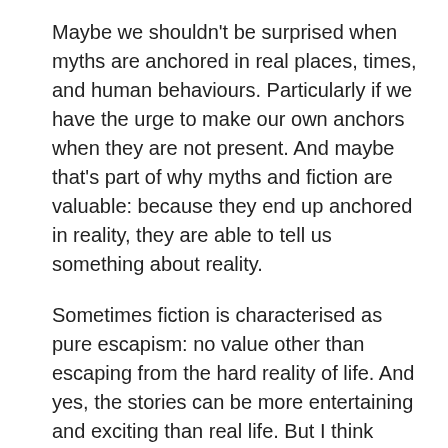Maybe we shouldn't be surprised when myths are anchored in real places, times, and human behaviours. Particularly if we have the urge to make our own anchors when they are not present. And maybe that's part of why myths and fiction are valuable: because they end up anchored in reality, they are able to tell us something about reality.
Sometimes fiction is characterised as pure escapism: no value other than escaping from the hard reality of life. And yes, the stories can be more entertaining and exciting than real life. But I think there's much more to it. The connections we make between fiction and the real world can help us deal with the real world. And even that's not considering the effect fiction has on developing lasting concepts of right and wrong.